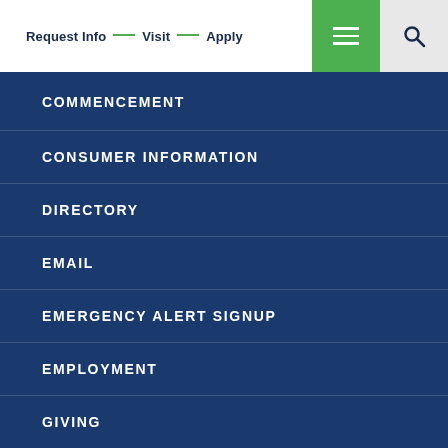Request Info — Visit — Apply
COMMENCEMENT
CONSUMER INFORMATION
DIRECTORY
EMAIL
EMERGENCY ALERT SIGNUP
EMPLOYMENT
GIVING
IBHE COMPLAINT SYSTEM
MEDIA CONTACT